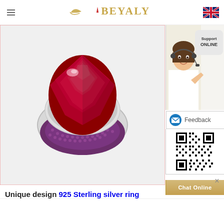BEYALY - navigation header with hamburger menu and UK flag
[Figure (photo): Close-up product photo of a 925 sterling silver ring featuring a large faceted deep red/ruby gemstone center stone, surrounded by small purple/amethyst pavé stones, on a white background]
Unique design 925 Sterling silver ring
[Figure (photo): Support ONLINE chat widget showing a female customer service agent with headset, with Support ONLINE speech bubble label]
Feedback
[Figure (other): QR code square barcode for mobile scanning]
Chat Online